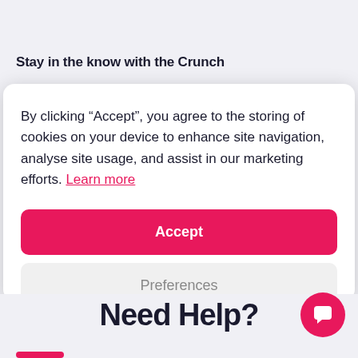Stay in the know with the Crunch
By clicking “Accept”, you agree to the storing of cookies on your device to enhance site navigation, analyse site usage, and assist in our marketing efforts. Learn more
Accept
Preferences
Need Help?
[Figure (other): Pink circular chat button with speech bubble icon in bottom right corner]